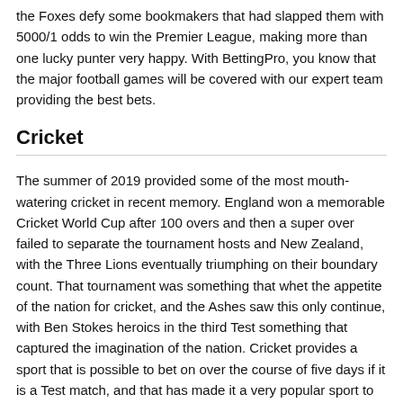the Foxes defy some bookmakers that had slapped them with 5000/1 odds to win the Premier League, making more than one lucky punter very happy. With BettingPro, you know that the major football games will be covered with our expert team providing the best bets.
Cricket
The summer of 2019 provided some of the most mouth-watering cricket in recent memory. England won a memorable Cricket World Cup after 100 overs and then a super over failed to separate the tournament hosts and New Zealand, with the Three Lions eventually triumphing on their boundary count. That tournament was something that whet the appetite of the nation for cricket, and the Ashes saw this only continue, with Ben Stokes heroics in the third Test something that captured the imagination of the nation. Cricket provides a sport that is possible to bet on over the course of five days if it is a Test match, and that has made it a very popular sport to put money on, with the likely winner sometimes constantly changing. If we fancy Steve Smith to go for a duck or Trent Boult to pick up a